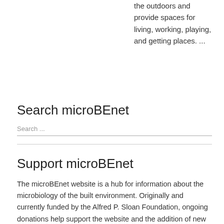the outdoors and provide spaces for living, working, playing, and getting places. ...
Search microBEnet
Search ...
Support microBEnet
The microBEnet website is a hub for information about the microbiology of the built environment. Originally and currently funded by the Alfred P. Sloan Foundation, ongoing donations help support the website and the addition of new content.